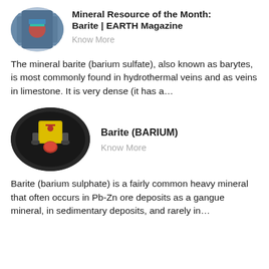[Figure (photo): Circular thumbnail photo of industrial/mining equipment with blue and red colors, for the Mineral Resource of the Month: Barite article]
Mineral Resource of the Month: Barite | EARTH Magazine
Know More
The mineral barite (barium sulfate), also known as barytes, is most commonly found in hydrothermal veins and as veins in limestone. It is very dense (it has a...
[Figure (photo): Oval/elliptical dark image showing a yellow warning button or device with a red button, possibly an electrical safety device, on a dark background]
Barite (BARIUM)
Know More
Barite (barium sulphate) is a fairly common heavy mineral that often occurs in Pb-Zn ore deposits as a gangue mineral, in sedimentary deposits, and rarely in...